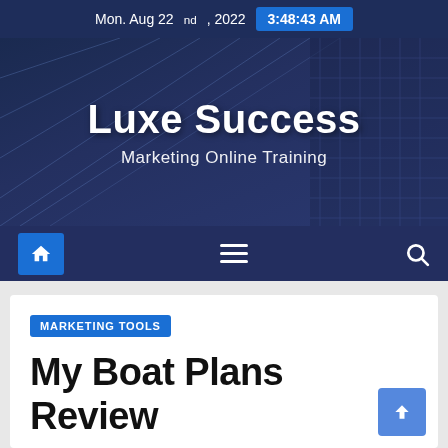Mon. Aug 22nd, 2022   3:48:43 AM
[Figure (screenshot): Luxe Success website hero banner with building glass facade background, showing site title 'Luxe Success' and tagline 'Marketing Online Training']
Luxe Success
Marketing Online Training
[Figure (infographic): Navigation bar with home icon button, hamburger menu icon, and search icon on dark navy background]
MARKETING TOOLS
My Boat Plans Review